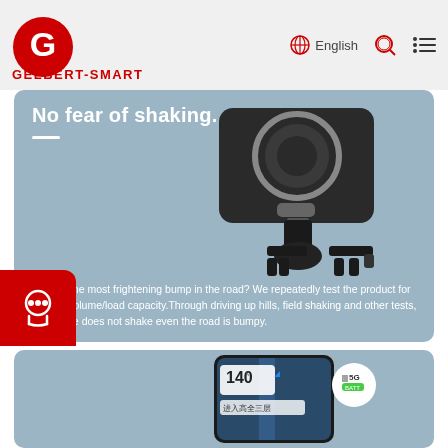GELBERT-SMART | English
No fear of shaking.
[Figure (photo): Black magnetic wireless car phone mount holder attached to air vent, showing USB-C port and circular magnetic pad on a light blue background]
What is the most frightening bump in the road? We repeatedly test the product for suction/volume/load capacity.Through driving up hills, field shaking and other tests, the phone does not shake even the road is bumpy.
[Figure (photo): Smartphone showing navigation app with 140 speed and Chinese text, with 5G signal indicator and battery icon visible in white circle overlay]